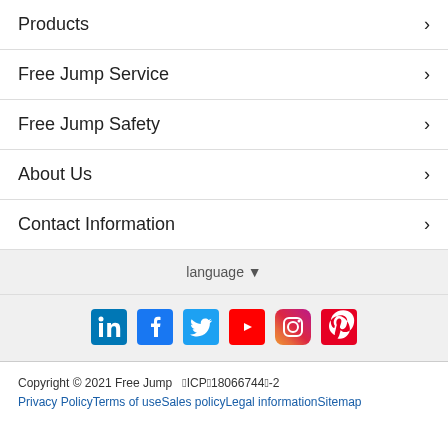Products
Free Jump Service
Free Jump Safety
About Us
Contact Information
language ▼
[Figure (infographic): Row of social media icons: LinkedIn, Facebook, Twitter, YouTube, Instagram, Pinterest]
Copyright © 2021 Free Jump  鄂ICP备18066744号-2
Privacy Policy Terms of use Sales policy Legal information Sitemap